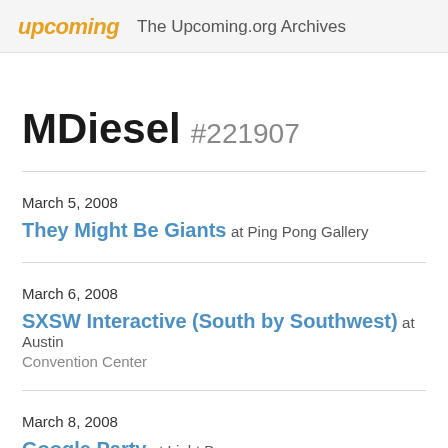upcoming  The Upcoming.org Archives
MDiesel #221907
March 5, 2008
They Might Be Giants at Ping Pong Gallery
March 6, 2008
SXSW Interactive (South by Southwest) at Austin Convention Center
March 8, 2008
Google Party at Light Bar